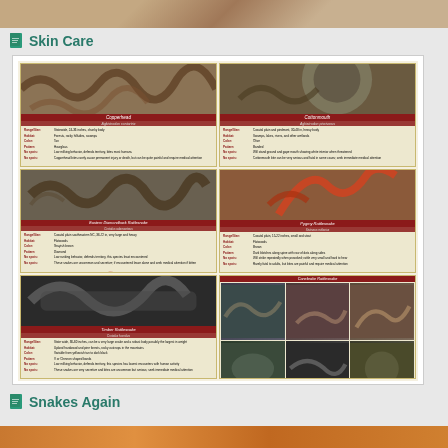[Figure (photo): Close-up photo of skin or animal texture in warm brown tones at top of page]
Skin Care
[Figure (infographic): Snake identification guide showing 6 snake species in a two-column grid layout with photos, species names in red bars, distribution maps of North Carolina, and informational text about each species. Species shown include Copperhead, Cottonmouth, Eastern Diamondback Rattlesnake, Pygmy Rattlesnake, Timber Rattlesnake, and Canebrake Rattlesnake.]
Snakes Again
[Figure (photo): Close-up photo of orange/brown animal texture at bottom of page]